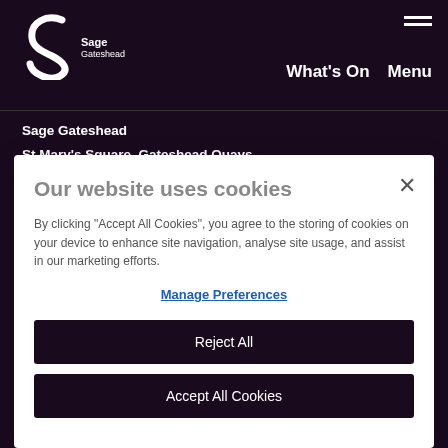[Figure (logo): Sage Gateshead logo with stylized 'S' shape and text 'Sage Gateshead']
What's On  Menu
Sage Gateshead
St Mary's Square, Gateshead Quays
Gateshead, NE8 2JR, England
Our website uses cookies
By clicking "Accept All Cookies", you agree to the storing of cookies on your device to enhance site navigation, analyse site usage, and assist in our marketing efforts.
Manage Preferences
Reject All
Accept All Cookies